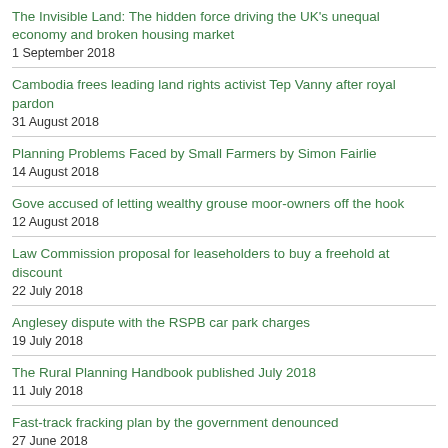The Invisible Land: The hidden force driving the UK's unequal economy and broken housing market
1 September 2018
Cambodia frees leading land rights activist Tep Vanny after royal pardon
31 August 2018
Planning Problems Faced by Small Farmers by Simon Fairlie
14 August 2018
Gove accused of letting wealthy grouse moor-owners off the hook
12 August 2018
Law Commission proposal for leaseholders to buy a freehold at discount
22 July 2018
Anglesey dispute with the RSPB car park charges
19 July 2018
The Rural Planning Handbook published July 2018
11 July 2018
Fast-track fracking plan by the government denounced
27 June 2018